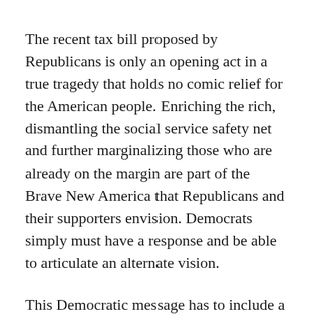The recent tax bill proposed by Republicans is only an opening act in a true tragedy that holds no comic relief for the American people. Enriching the rich, dismantling the social service safety net and further marginalizing those who are already on the margin are part of the Brave New America that Republicans and their supporters envision. Democrats simply must have a response and be able to articulate an alternate vision.
This Democratic message has to include a narrative that goes beyond how bad Donald Tinyhands is and